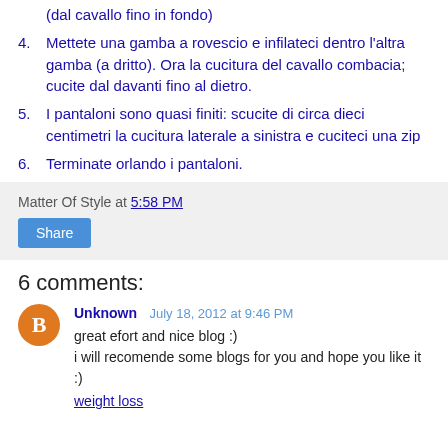(dal cavallo fino in fondo)
4. Mettete una gamba a rovescio e infilateci dentro l'altra gamba (a dritto). Ora la cucitura del cavallo combacia; cucite dal davanti fino al dietro.
5. I pantaloni sono quasi finiti: scucite di circa dieci centimetri la cucitura laterale a sinistra e cuciteci una zip
6. Terminate orlando i pantaloni.
Matter Of Style at 5:58 PM
Share
6 comments:
Unknown July 18, 2012 at 9:46 PM
great efort and nice blog :)
i will recomende some blogs for you and hope you like it :)
weight loss